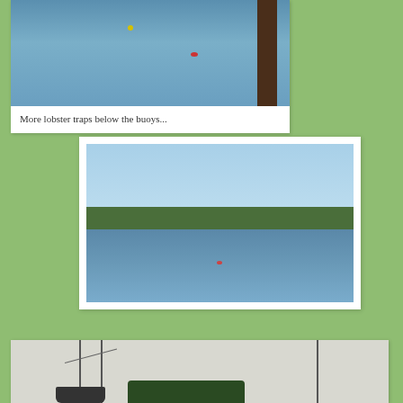[Figure (photo): Ocean water with lobster trap buoys visible on the surface, and a dark wooden pole on the right side. Top portion of a photo card.]
More lobster traps below the buoys...
[Figure (photo): A bay or harbor scene with choppy blue water in the foreground, a wooded shoreline with a few buildings and a sandy beach in the middle ground, and a clear blue sky above.]
[Figure (photo): Sailboat masts and rigging against an overcast grey sky, with dark treetops visible. Bottom portion of a photo card, partially cut off.]